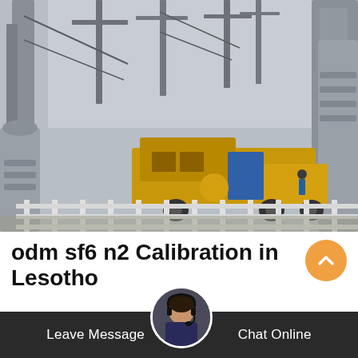[Figure (photo): Electrical substation with high-voltage transmission equipment, insulators, and a yellow service truck/mobile unit parked inside the substation yard. White metal fencing is visible in the foreground.]
odm sf6 n2 Calibration in Lesotho
Micafluid SF6 Gas Sensor Transmit high electrical Switchgear The use of SF6 N2 gas mixtures in gas insulated